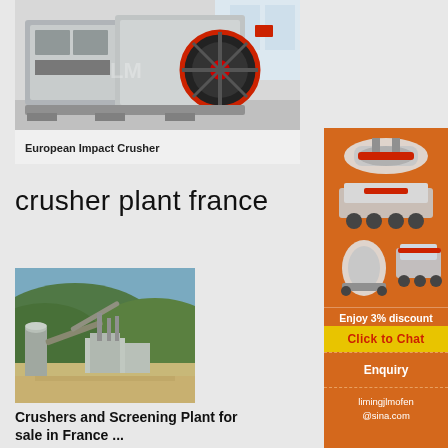[Figure (photo): European Impact Crusher machine — large white industrial crushing equipment with a prominent red and black flywheel, photographed in a factory setting]
European Impact Crusher
crusher plant france
[Figure (photo): Aerial/ground view of a crushers and screening plant facility in France, showing industrial buildings, conveyor belts, a large silo, and green hills in the background]
Crushers and Screening Plant for sale in France ...
[Figure (infographic): Orange sidebar advertisement showing mining/crushing equipment machines, 'Enjoy 3% discount', 'Click to Chat' button, 'Enquiry', and contact email limingjlmofen@sina.com]